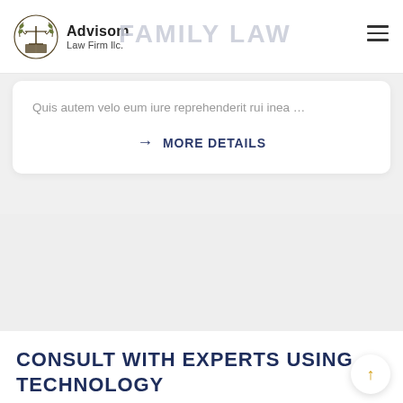Advisom Law Firm llc. FAMILY LAW
Quis autem velo eum iure reprehenderit rui inea …
→ MORE DETAILS
CONSULT WITH EXPERTS USING TECHNOLOGY